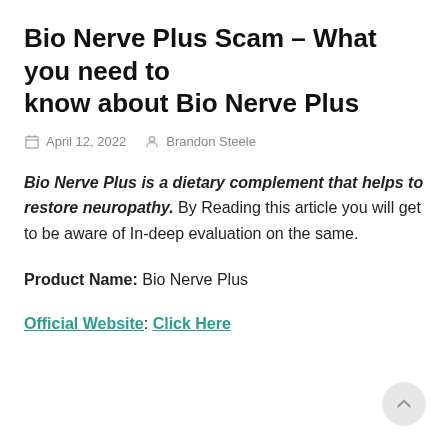Bio Nerve Plus Scam – What you need to know about Bio Nerve Plus
April 12, 2022   Brandon Steele
Bio Nerve Plus is a dietary complement that helps to restore neuropathy. By Reading this article you will get to be aware of In-deep evaluation on the same.
Product Name: Bio Nerve Plus
Official Website: Click Here